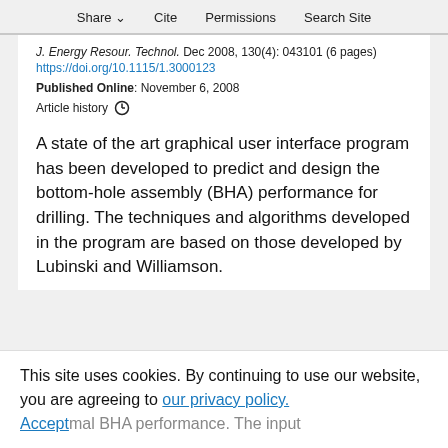Share  Cite  Permissions  Search Site
J. Energy Resour. Technol. Dec 2008, 130(4): 043101 (6 pages)
https://doi.org/10.1115/1.3000123
Published Online: November 6, 2008
Article history
A state of the art graphical user interface program has been developed to predict and design the bottom-hole assembly (BHA) performance for drilling. The techniques and algorithms developed in the program are based on those developed by Lubinski and Williamson.
This site uses cookies. By continuing to use our website, you are agreeing to our privacy policy.
Accept